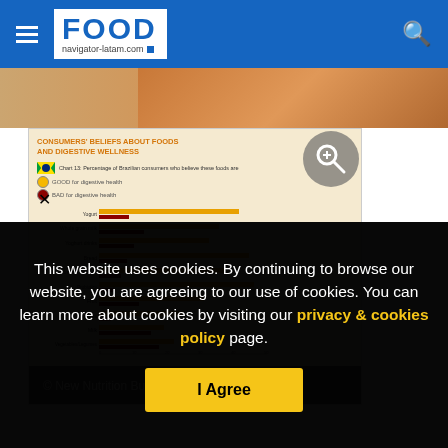FOOD navigator-latam.com
[Figure (infographic): Consumers' Beliefs About Foods and Digestive Wellness — Chart 13: Percentage of Brazilian consumers who believe these foods are GOOD for digestive health vs BAD for digestive health. Horizontal bar chart with orange/yellow and red bars for various food categories including dairy, fruits, vegetables, probiotics, etc.]
© New Nutrition Business
This website uses cookies. By continuing to browse our website, you are agreeing to our use of cookies. You can learn more about cookies by visiting our privacy & cookies policy page.